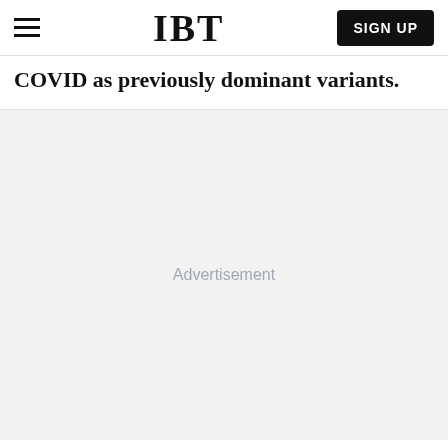IBT  SIGN UP
COVID as previously dominant variants.
[Figure (other): Advertisement placeholder area with light gray background and 'Advertisement' text label centered]